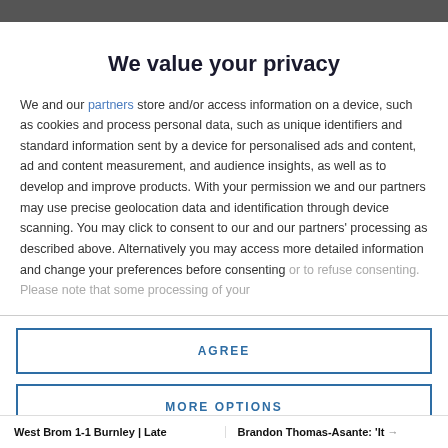We value your privacy
We and our partners store and/or access information on a device, such as cookies and process personal data, such as unique identifiers and standard information sent by a device for personalised ads and content, ad and content measurement, and audience insights, as well as to develop and improve products. With your permission we and our partners may use precise geolocation data and identification through device scanning. You may click to consent to our and our partners' processing as described above. Alternatively you may access more detailed information and change your preferences before consenting or to refuse consenting. Please note that some processing of your
AGREE
MORE OPTIONS
West Brom 1-1 Burnley | Late   Brandon Thomas-Asante: 'It